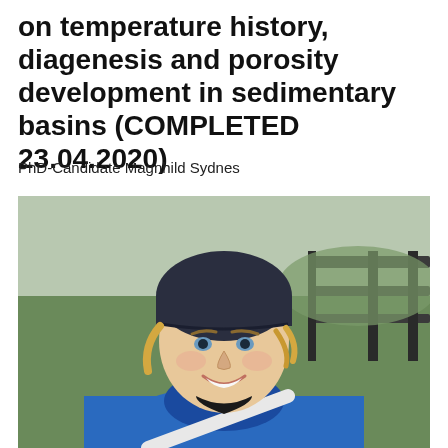on temperature history, diagenesis and porosity development in sedimentary basins (COMPLETED 23.04.2020)
PhD-Candidate Magnhild Sydnes
[Figure (photo): Portrait photo of a smiling blonde woman wearing a dark navy beanie hat and a blue outdoor jacket with a white strap across the chest. Background shows a wooden railing/fence and green grassy hills.]